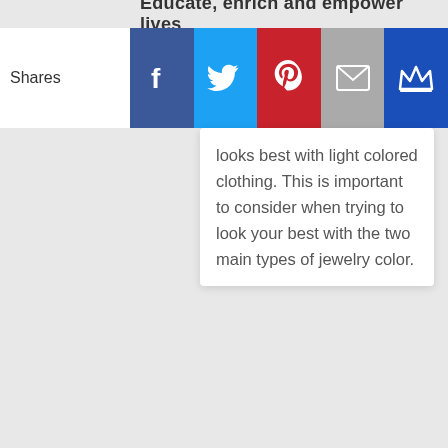Educate, enrich and empower lives...
[Figure (screenshot): Social share bar with Shares label, Facebook, Twitter, Pinterest, Email, and Crown buttons]
looks best with light colored clothing. This is important to consider when trying to look your best with the two main types of jewelry color.
Join Our
Sign up today for free and be the first to get notified on new updates.
Enter your Email
JOIN NOW
NO THANKS